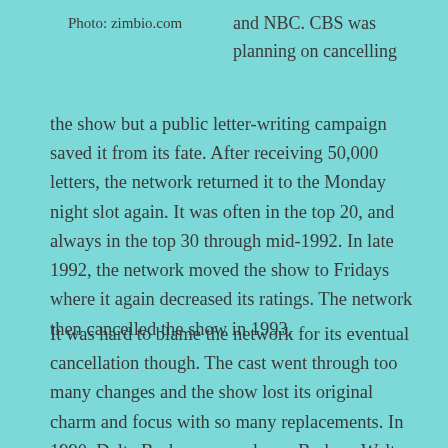Photo: zimbio.com
and NBC. CBS was planning on cancelling the show but a public letter-writing campaign saved it from its fate. After receiving 50,000 letters, the network returned it to the Monday night slot again. It was often in the top 20, and always in the top 30 through mid-1992. In late 1992, the network moved the show to Fridays where it again decreased its ratings. The network then cancelled the show in 1993.
It was hard to blame the network for its eventual cancellation though. The cast went through too many changes and the show lost its original charm and focus with so many replacements. In 1990, Delta Burke appeared on a Barbara Walters special and stated that the set was not a happy one. She accused the